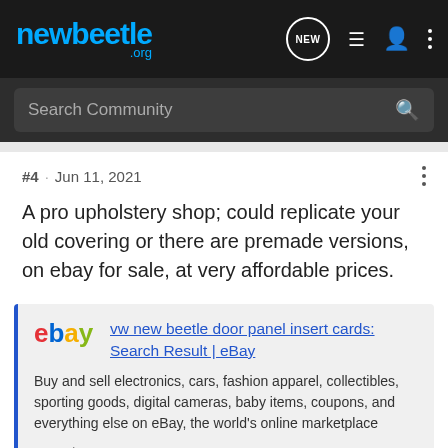newbeetle.org
Search Community
#4 · Jun 11, 2021
A pro upholstery shop; could replicate your old covering or there are premade versions, on ebay for sale, at very affordable prices.
[Figure (other): eBay link preview card showing: 'vw new beetle door panel insert cards: Search Result | eBay' with description 'Buy and sell electronics, cars, fashion apparel, collectibles, sporting goods, digital cameras, baby items, coupons, and everything else on eBay, the world's online marketplace' and URL www.ebay.com]